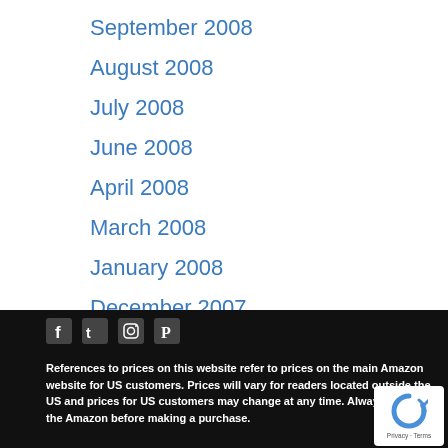September 2008
August 2008
July 2008
June 2008
April 2008
March 2008
January 2008
December 2007
References to prices on this website refer to prices on the main Amazon website for US customers. Prices will vary for readers located outside the US and prices for US customers may change at any time. Always check the Amazon before making a purchase.